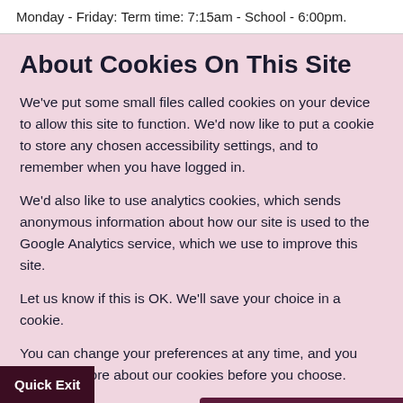Monday - Friday: Term time: 7:15am - School - 6:00pm.
About Cookies On This Site
We've put some small files called cookies on your device to allow this site to function. We'd now like to put a cookie to store any chosen accessibility settings, and to remember when you have logged in.
We'd also like to use analytics cookies, which sends anonymous information about how our site is used to the Google Analytics service, which we use to improve this site.
Let us know if this is OK. We'll save your choice in a cookie.
You can change your preferences at any time, and you can read more about our cookies before you choose.